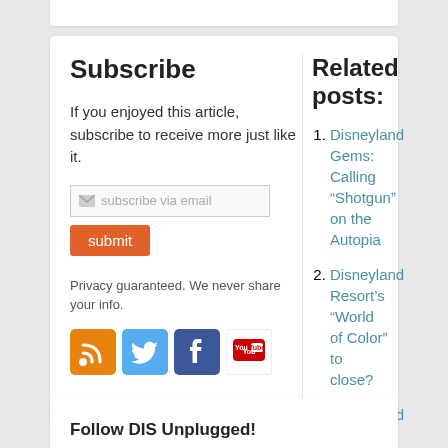Subscribe
If you enjoyed this article, subscribe to receive more just like it.
Privacy guaranteed. We never share your info.
Related posts:
Disneyland Gems: Calling “Shotgun” on the Autopia
Disneyland Resort’s “World of Color” to close?
Disneyland Gems: Holidays at Disneyland!
New Blog Series – The Gems of Disneyland!
Follow DIS Unplugged!